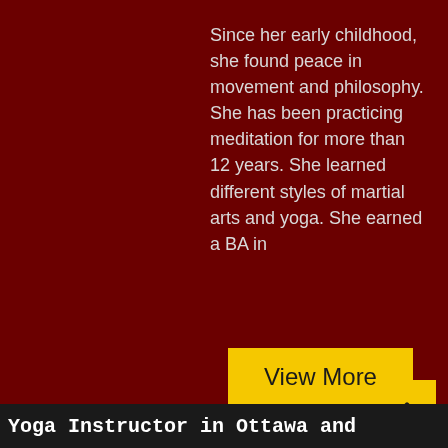Since her early childhood, she found peace in movement and philosophy. She has been practicing meditation for more than 12 years. She learned different styles of martial arts and yoga. She earned a BA in
[Figure (other): Yellow 'View More' button]
[Figure (other): Yellow button with double up-arrow chevron icon]
Yoga Instructor in Ottawa and